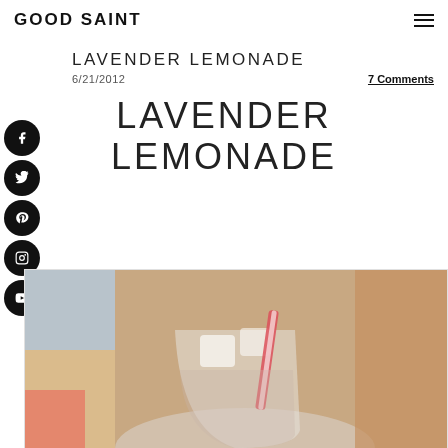GOOD SAINT
LAVENDER LEMONADE
6/21/2012
7 Comments
[Figure (illustration): Social media icons sidebar: Facebook, Twitter, Pinterest, Instagram, YouTube — circular black icons]
LAVENDER LEMONADE
[Figure (photo): A glass of lavender lemonade with ice and a pink-striped straw, blurred colorful background]